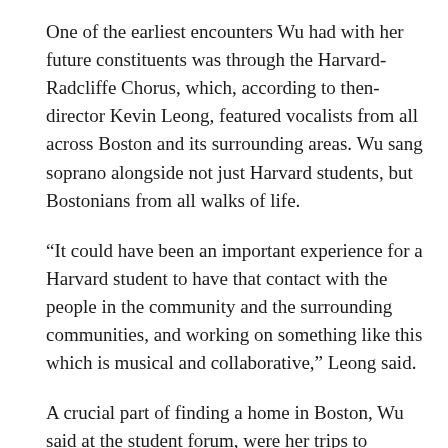One of the earliest encounters Wu had with her future constituents was through the Harvard-Radcliffe Chorus, which, according to then-director Kevin Leong, featured vocalists from all across Boston and its surrounding areas. Wu sang soprano alongside not just Harvard students, but Bostonians from all walks of life.
“It could have been an important experience for a Harvard student to have that contact with the people in the community and the surrounding communities, and working on something like this which is musical and collaborative,” Leong said.
A crucial part of finding a home in Boston, Wu said at the student forum, were her trips to Chinatown as part of the Phillips Brooks House Association’s Chinatown Citizenship Program — a program she would eventually helm.